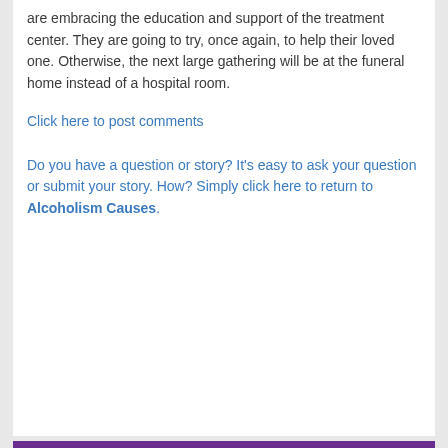are embracing the education and support of the treatment center. They are going to try, once again, to help their loved one. Otherwise, the next large gathering will be at the funeral home instead of a hospital room.
Click here to post comments
Do you have a question or story? It's easy to ask your question or submit your story. How? Simply click here to return to Alcoholism Causes.